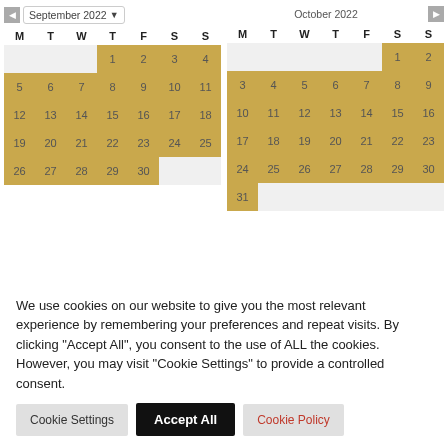[Figure (other): Two-month date-picker calendar showing September 2022 and October 2022. Most dates are highlighted in gold/amber. September: 1–30 highlighted (1–4 gold, 5–30 gold, empty cells after 30). October: 1–31, all dates highlighted in gold.]
We use cookies on our website to give you the most relevant experience by remembering your preferences and repeat visits. By clicking "Accept All", you consent to the use of ALL the cookies. However, you may visit "Cookie Settings" to provide a controlled consent.
Cookie Settings
Accept All
Cookie Policy